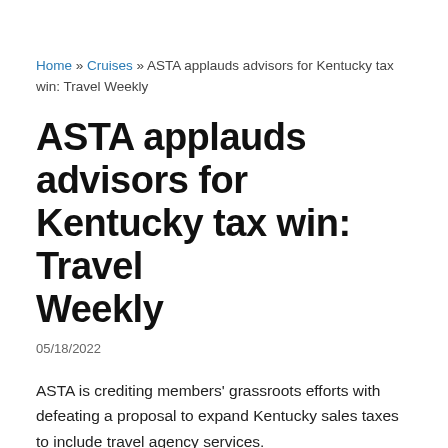Home » Cruises » ASTA applauds advisors for Kentucky tax win: Travel Weekly
ASTA applauds advisors for Kentucky tax win: Travel Weekly
05/18/2022
ASTA is crediting members' grassroots efforts with defeating a proposal to expand Kentucky sales taxes to include travel agency services.